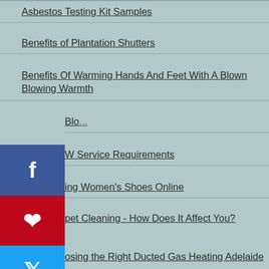Asbestos Testing Kit Samples
Benefits of Plantation Shutters
Benefits Of Warming Hands And Feet With A Blown Blowing Warmth
Blo...
W Service Requirements
ing Women's Shoes Online
pet Cleaning - How Does It Affect You?
osing the Right Ducted Gas Heating Adelaide Services
Common Areas Where Office Cleaning Services Can Be Used
Contact